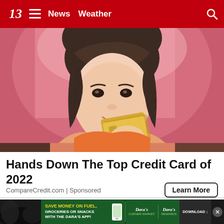13 News | Weather
[Figure (photo): Young woman with dark hair and bangs holding a gold credit card up near her face, smiling, against a pink background]
Hands Down The Top Credit Card of 2022
CompareCredit.com | Sponsored
[Figure (photo): Dara's advertisement banner: Save money on fuel, groceries or snacks with the Dara's app! Showing Dara's Corner Market and Dara's Rewards logos with a download button]